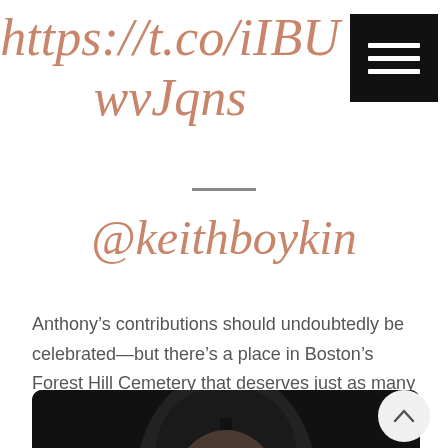https://t.co/iIBUwvJqns
[Figure (other): Hamburger menu button icon (three white horizontal lines on black background)]
@keithboykin
Anthony’s contributions should undoubtedly be celebrated—but there’s a place in Boston’s Forest Hill Cemetery that deserves just as many stickers. Today, we need to also thank Lucy Stone.
[Figure (photo): Black and white portrait photograph of Lucy Stone, a woman with dark hair parted in the middle]